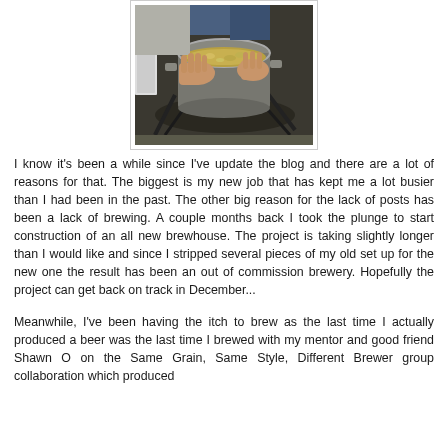[Figure (photo): A person's hands holding a large metal pot/kettle containing grain or hops, viewed from above in what appears to be a home brewery setup. The background shows equipment and cables on a floor.]
I know it's been a while since I've update the blog and there are a lot of reasons for that. The biggest is my new job that has kept me a lot busier than I had been in the past. The other big reason for the lack of posts has been a lack of brewing. A couple months back I took the plunge to start construction of an all new brewhouse. The project is taking slightly longer than I would like and since I stripped several pieces of my old set up for the new one the result has been an out of commission brewery. Hopefully the project can get back on track in December...
Meanwhile, I've been having the itch to brew as the last time I actually produced a beer was the last time I brewed with my mentor and good friend Shawn O on the Same Grain, Same Style, Different Brewer group collaboration which produced